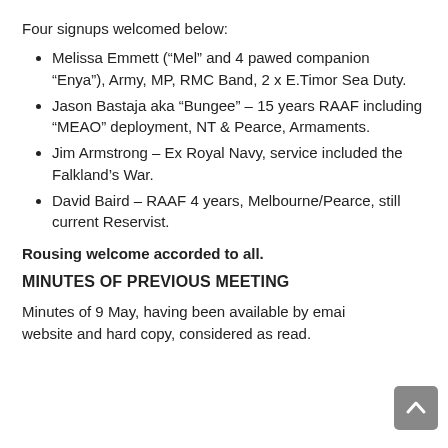Four signups welcomed below:
Melissa Emmett (“Mel” and 4 pawed companion “Enya”), Army, MP, RMC Band, 2 x E.Timor Sea Duty.
Jason Bastaja aka “Bungee” – 15 years RAAF including “MEAO” deployment, NT & Pearce, Armaments.
Jim Armstrong – Ex Royal Navy, service included the Falkland’s War.
David Baird – RAAF 4 years, Melbourne/Pearce, still current Reservist.
Rousing welcome accorded to all.
MINUTES OF PREVIOUS MEETING
Minutes of 9 May, having been available by email, website and hard copy, considered as read.